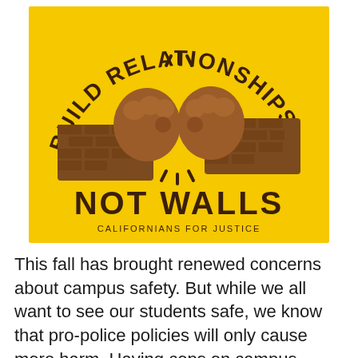[Figure (illustration): Illustration on yellow background showing two fists doing a fist bump, with text arcing above reading 'BUILD RELATIONSHIPS' and below reading 'NOT WALLS', with 'CALIFORNIANS FOR JUSTICE' at the bottom in smaller text.]
This fall has brought renewed concerns about campus safety. But while we all want to see our students safe, we know that pro-police policies will only cause more harm. Having cops on campus doesn't work. Having police present on campus means Black and Brown students, API students, Native students